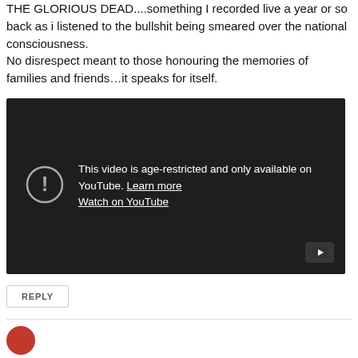THE GLORIOUS DEAD....something I recorded live a year or so back as i listened to the bullshit being smeared over the national consciousness.
No disrespect meant to those honouring the memories of families and friends…it speaks for itself.
[Figure (screenshot): Embedded YouTube video player showing age-restriction message: 'This video is age-restricted and only available on YouTube. Learn more. Watch on YouTube.' with a warning icon and YouTube play button in bottom-right corner.]
REPLY
[Figure (other): Partial avatar/profile image at bottom of page]